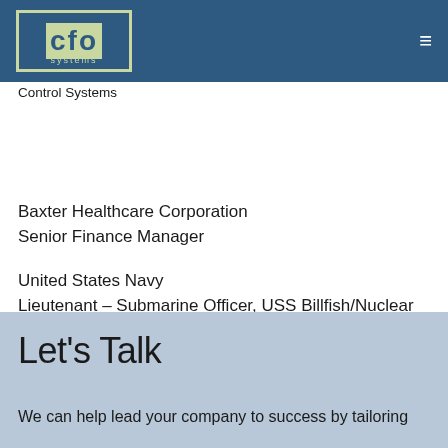CFO Systems
General Electric
Commercial Finance Leader, Global Supply Chain – Global Services Operations; Senior Finance Leader, Global Supply Chain – Transportation, Intelligent Control Systems
Baxter Healthcare Corporation
Senior Finance Manager
United States Navy
Lieutenant – Submarine Officer, USS Billfish/Nuclear Officer Recruiting Lead
Let's Talk
We can help lead your company to success by tailoring